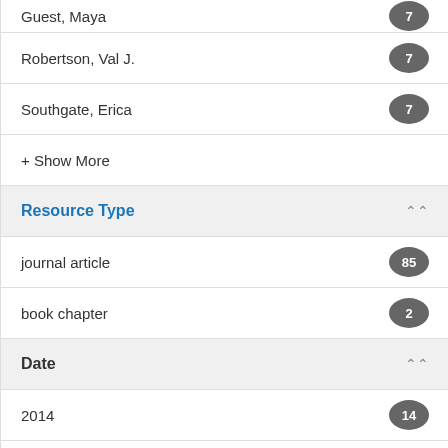Guest, Maya — 7
Robertson, Val J. — 7
Southgate, Erica — 7
+ Show More
Resource Type
journal article — 85
book chapter — 2
Date
2014 — 14
2015 — 13
2012 — 9
2008 — 7